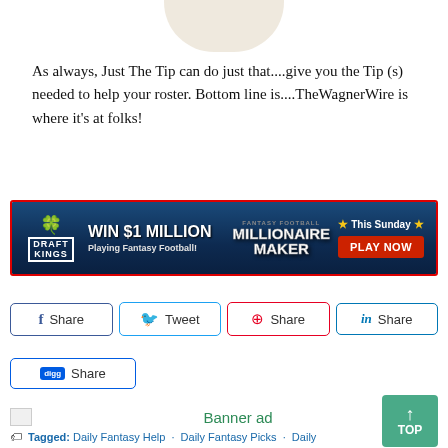[Figure (photo): Partial image of a football or sports item at top of page, cropped]
As always, Just The Tip can do just that....give you the Tip (s) needed to help your roster. Bottom line is....TheWagnerWire is where it's at folks!
[Figure (other): DraftKings banner ad: WIN $1 MILLION Playing Fantasy Football! Millionaire Maker — This Sunday — PLAY NOW]
[Figure (other): Social share buttons row: Facebook Share, Twitter Tweet, Pinterest Share, LinkedIn Share]
[Figure (other): Digg Share button]
[Figure (other): Banner ad placeholder with broken image icon and green 'Banner ad' text]
[Figure (other): Green TOP scroll-to-top button]
Tagged: Daily Fantasy Help · Daily Fantasy Picks · Daily